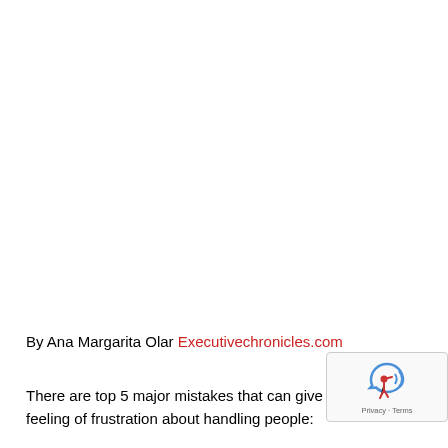By Ana Margarita Olar Executivechronicles.com
There are top 5 major mistakes that can give managers a feeling of frustration about handling people: